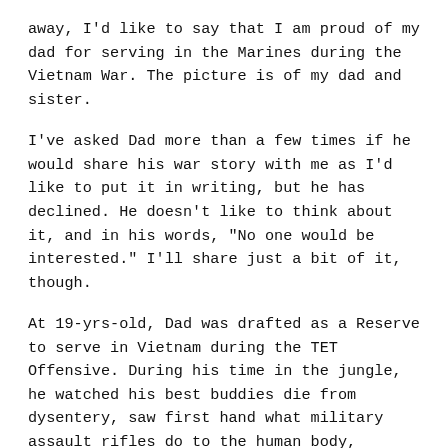away, I'd like to say that I am proud of my dad for serving in the Marines during the Vietnam War. The picture is of my dad and sister.
I've asked Dad more than a few times if he would share his war story with me as I'd like to put it in writing, but he has declined. He doesn't like to think about it, and in his words, "No one would be interested." I'll share just a bit of it, though.
At 19-yrs-old, Dad was drafted as a Reserve to serve in Vietnam during the TET Offensive. During his time in the jungle, he watched his best buddies die from dysentery, saw first hand what military assault rifles do to the human body, exposed to Agent Orange, and "slept" in a foxhole night after night during